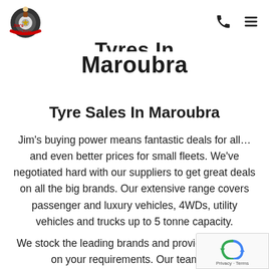Jim's Mobile Tyres — navigation header with phone icon and menu icon
Maroubra
Tyre Sales In Maroubra
Jim's buying power means fantastic deals for all... and even better prices for small fleets. We've negotiated hard with our suppliers to get great deals on all the big brands. Our extensive range covers passenger and luxury vehicles, 4WDs, utility vehicles and trucks up to 5 tonne capacity.
We stock the leading brands and provide matching on your requirements. Our team are